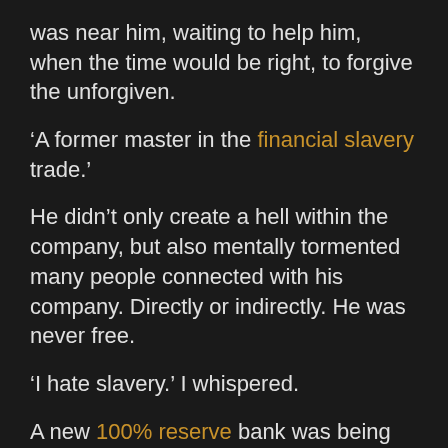was near him, waiting to help him, when the time would be right, to forgive the unforgiven.
‘A former master in the financial slavery trade.’
He didn’t only create a hell within the company, but also mentally tormented many people connected with his company. Directly or indirectly. He was never free.
‘I hate slavery.’ I whispered.
A new 100% reserve bank was being created. The new owners would have skin in the game.